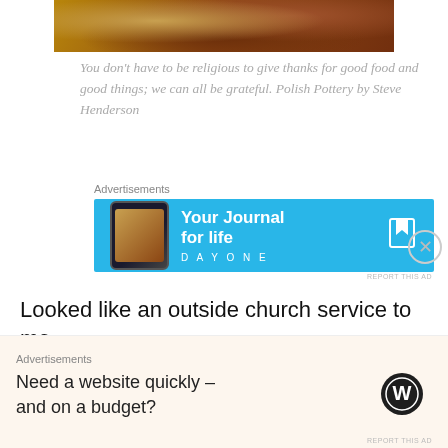[Figure (photo): Partial view of a painting showing food on a table, warm earthy tones with browns and oranges.]
You don't have to be religious to give thanks for good food and good things; we can all be grateful. Polish Pottery by Steve Henderson
[Figure (other): Advertisement banner for Day One journal app. Blue background with phone mockup and text 'Your Journal for life' with DAYONE logo.]
Looked like an outside church service to me.
I guess I find this intriguing because this is an election year, during which much will be said about the Rabid, Radical Religious Right, a frightening force of fanatical
[Figure (other): Advertisement for WordPress: 'Need a website quickly – and on a budget?' with WordPress logo.]